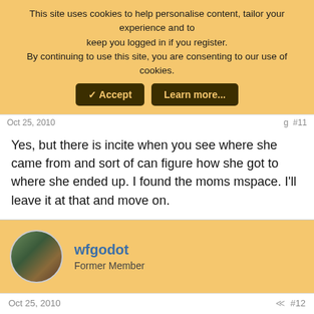This site uses cookies to help personalise content, tailor your experience and to keep you logged in if you register. By continuing to use this site, you are consenting to our use of cookies.
✓ Accept | Learn more...
Oct 25, 2010  #11
Yes, but there is incite when you see where she came from and sort of can figure how she got to where she ended up. I found the moms mspace. I'll leave it at that and move on.
wfgodot
Former Member
Oct 25, 2010  #12
Daily Mail chimes in with story, link to Hiccup Girl hiccuping, etc.